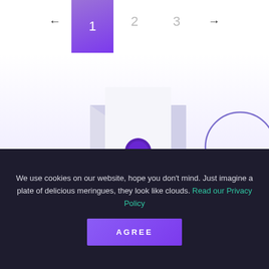← 1 2 3 →
[Figure (illustration): 3D illustration of a white envelope with purple wax seals and coin-like elements, partially visible at bottom center of page. A purple circle outline decoration is visible at the right side.]
We use cookies on our website, hope you don't mind. Just imagine a plate of delicious meringues, they look like clouds. Read our Privacy Policy
AGREE